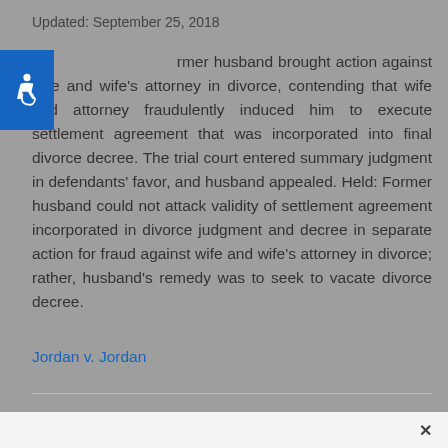Updated: September 25, 2018
[Figure (illustration): Blue accessibility icon (wheelchair symbol) in top-left corner]
Former husband brought action against wife and wife's attorney in divorce, contending that wife and attorney fraudulently induced him to execute settlement agreement that was incorporated into final divorce decree. The trial court entered summary judgment in defendants' favor, and husband appealed. Held: Former husband could not attack validity of settlement agreement incorporated in divorce judgment and decree in separate action for fraud against wife and wife's attorney in divorce; rather, husband's remedy was to seek to vacate divorce decree.
Jordan v. Jordan
Laura Morgan is a Family Law Consultant. Laura is available for consultation, brief writing and research on family